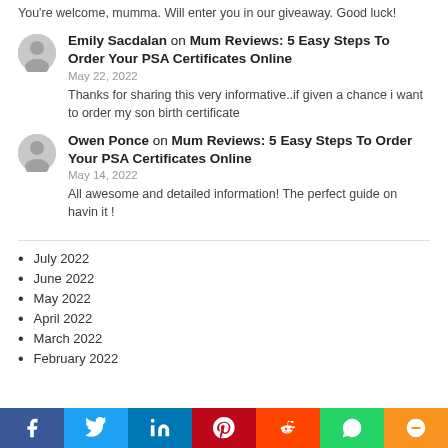You're welcome, mumma. Will enter you in our giveaway. Good luck!
Emily Sacdalan on Mum Reviews: 5 Easy Steps To Order Your PSA Certificates Online
May 22, 2022
Thanks for sharing this very informative..if given a chance i want to order my son birth certificate
Owen Ponce on Mum Reviews: 5 Easy Steps To Order Your PSA Certificates Online
May 14, 2022
All awesome and detailed information! The perfect guide on havin it !
July 2022
June 2022
May 2022
April 2022
March 2022
February 2022